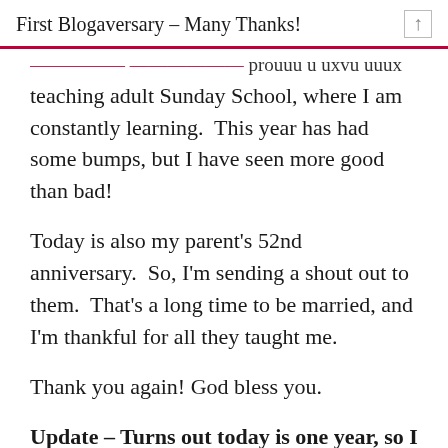First Blogaversary – Many Thanks!
teaching adult Sunday School, where I am constantly learning.  This year has had some bumps, but I have seen more good than bad!
Today is also my parent's 52nd anniversary.  So, I'm sending a shout out to them.  That's a long time to be married, and I'm thankful for all they taught me.
Thank you again! God bless you.
Update – Turns out today is one year, so I didn't miss the date. 🙂